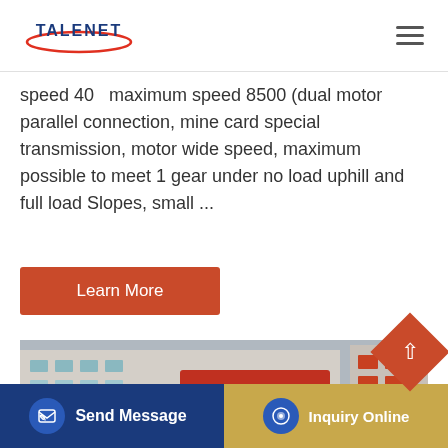TALENET
speed 400 maximum speed 8500 (dual motor parallel connection, mine card special transmission, motor wide speed, maximum possible to meet 1 gear under no load uphill and full load Slopes, small ...
Learn More
[Figure (photo): Red HOWO truck cab and blue trucks parked in front of a warehouse building]
Send Message | Inquiry Online